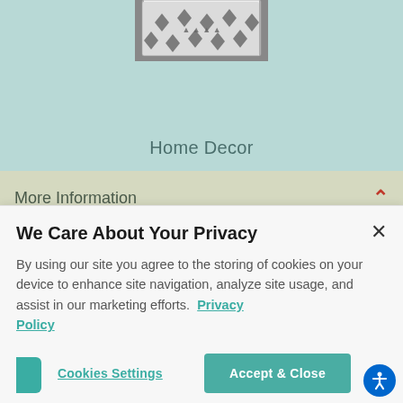[Figure (photo): Partial view of a decorative pillow with black pattern on white fabric]
Home Decor
More Information
Update your Coupeville home on a budget at a CORT Furniture Outlet near 98239. Make a bold statement or keep things classic. We have the home furnishings to match!
We Care About Your Privacy
By using our site you agree to the storing of cookies on your device to enhance site navigation, analyze site usage, and assist in our marketing efforts.  Privacy Policy
Cookies Settings   Accept & Close